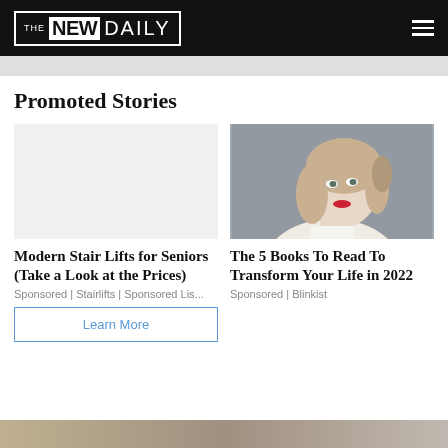THE NEW DAILY
Promoted Stories
[Figure (photo): Blank/empty image placeholder for stair lifts article]
Modern Stair Lifts for Seniors (Take a Look at the Prices)
Sponsored | Stairlifts | Sponsored Lis...
Learn More
[Figure (photo): Portrait photo of a young blonde woman with red lipstick, looking sideways, grey background]
The 5 Books To Read To Transform Your Life in 2022
Sponsored | Blinkist